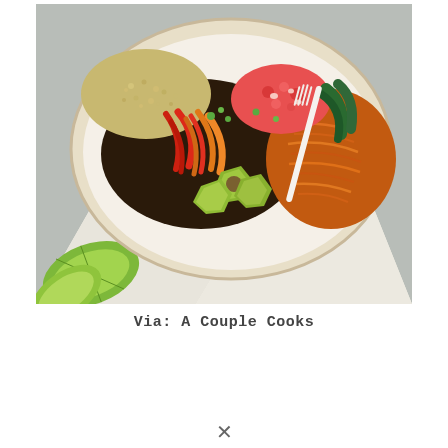[Figure (photo): A colorful grain bowl in a white ceramic bowl filled with quinoa, sautéed red and orange bell peppers, avocado chunks, shredded sweet potatoes, black beans, fresh salsa, and greens. A white fork rests in the bowl. The bowl sits on a white linen napkin with red stitching on a grey surface, with lime wedges in the foreground.]
Via: A Couple Cooks